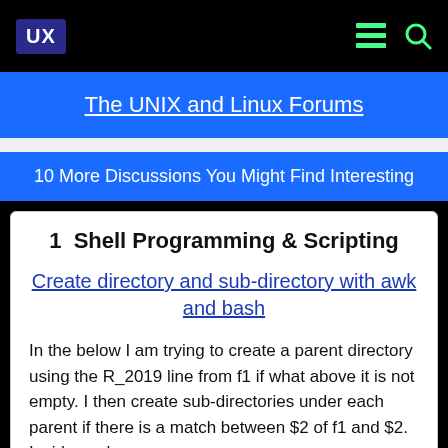UX | [hamburger menu] [search]
The UNIX and Linux Forums
10 More Discussions You Might Find Interesting
1  Shell Programming & Scripting
Create directory and sub-directory with awk and bash
In the below I am trying to create a parent directory using the R_2019 line from f1 if what above it is not empty. I then create sub-directories under each parent if there is a match between $2 of f1 and $2. Inside each